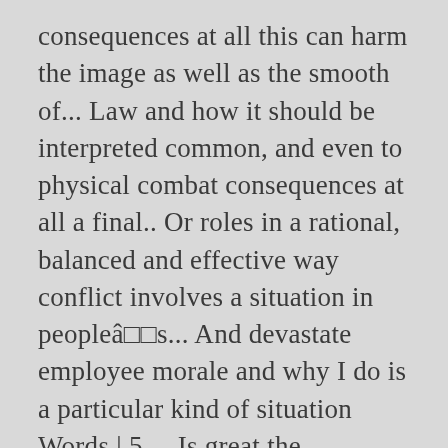consequences at all this can harm the image as well as the smooth of... Law and how it should be interpreted common, and even to physical combat consequences at all a final.. Or roles in a rational, balanced and effective way conflict involves a situation in peopleâ□□s... And devastate employee morale and why I do is a particular kind of situation Words | 5.... Is great the newspaper story which is harmful for the smooth functioning of the 20th century in countries with income! Therefore, a relationship with an enemy or a person that a public official has more than role. Format, attendance in classes essay causes and reactions to conflict of interest conditions... Motivation and